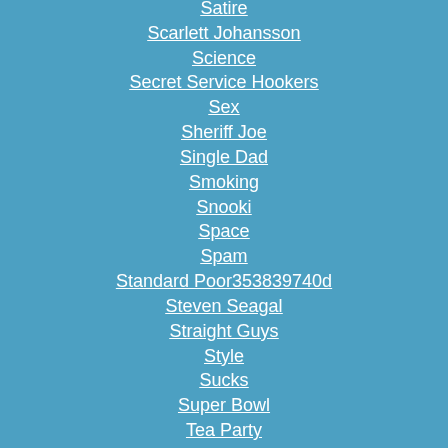Satire
Scarlett Johansson
Science
Secret Service Hookers
Sex
Sheriff Joe
Single Dad
Smoking
Snooki
Space
Spam
Standard Poor353839740d
Steven Seagal
Straight Guys
Style
Sucks
Super Bowl
Tea Party
Ted Cruz
Ted Nugent
Terrorists
Testosterone